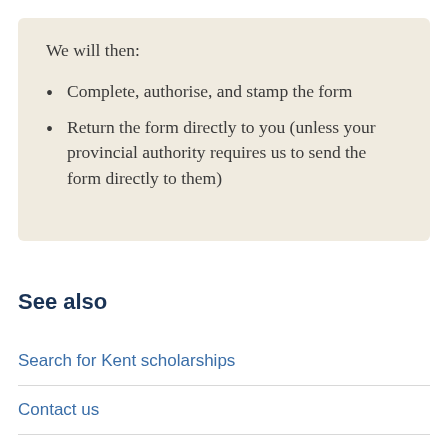We will then:
Complete, authorise, and stamp the form
Return the form directly to you (unless your provincial authority requires us to send the form directly to them)
See also
Search for Kent scholarships
Contact us